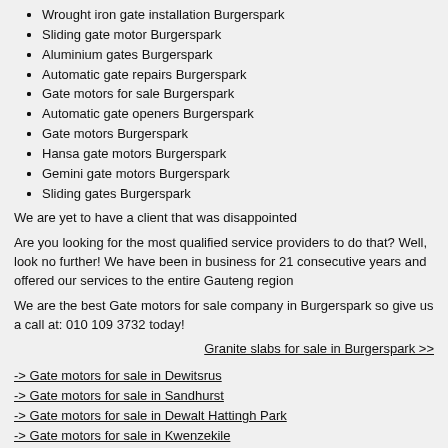Wrought iron gate installation Burgerspark
Sliding gate motor Burgerspark
Aluminium gates Burgerspark
Automatic gate repairs Burgerspark
Gate motors for sale Burgerspark
Automatic gate openers Burgerspark
Gate motors Burgerspark
Hansa gate motors Burgerspark
Gemini gate motors Burgerspark
Sliding gates Burgerspark
We are yet to have a client that was disappointed
Are you looking for the most qualified service providers to do that? Well, look no further! We have been in business for 21 consecutive years and offered our services to the entire Gauteng region
We are the best Gate motors for sale company in Burgerspark so give us a call at: 010 109 3732 today!
Granite slabs for sale in Burgerspark >>
-> Gate motors for sale in Dewitsrus
-> Gate motors for sale in Sandhurst
-> Gate motors for sale in Dewalt Hattingh Park
-> Gate motors for sale in Kwenzekile
-> Gate motors for sale in Hillside